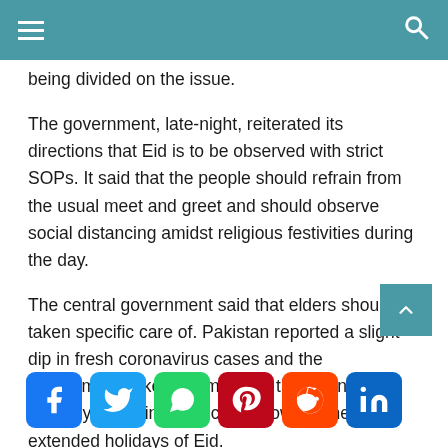[navigation header with hamburger menu and search icon]
being divided on the issue.
The government, late-night, reiterated its directions that Eid is to be observed with strict SOPs. It said that the people should refrain from the usual meet and greet and should observe social distancing amidst religious festivities during the day.
The central government said that elders should be taken specific care of. Pakistan reported a slight dip in fresh coronavirus cases and the government is keen to maintain the downward trend by enforcing a strict lockdown in the extended holidays of Eid.
[Figure (other): Social media sharing icons: Facebook, Twitter, WhatsApp, Pinterest, Reddit, LinkedIn]